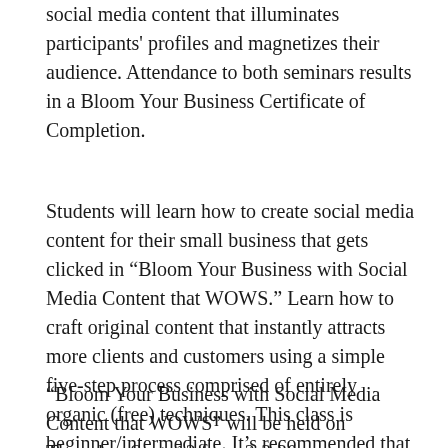social media content that illuminates participants' profiles and magnetizes their audience. Attendance to both seminars results in a Bloom Your Business Certificate of Completion.
Students will learn how to create social media content for their small business that gets clicked in “Bloom Your Business with Social Media Content that WOWS.” Learn how to craft original content that instantly attracts more clients and customers using a simple five-step process comprised of entirely organic (free) techniques. This class is beginner/intermediate. It’s recommended that students have a basic working knowledge of the web and the current social media landscape.
“Bloom Your Business with Social Media Content that WOWS” will be held on Thursday, Sept. 12 from 2-3:30 p.m.